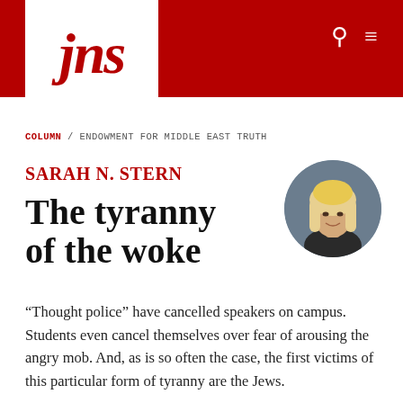jns
COLUMN / ENDOWMENT FOR MIDDLE EAST TRUTH
SARAH N. STERN
The tyranny of the woke
[Figure (photo): Circular portrait photo of Sarah N. Stern, a woman with blonde hair, against a dark background]
“Thought police” have cancelled speakers on campus. Students even cancel themselves over fear of arousing the angry mob. And, as is so often the case, the first victims of this particular form of tyranny are the Jews.